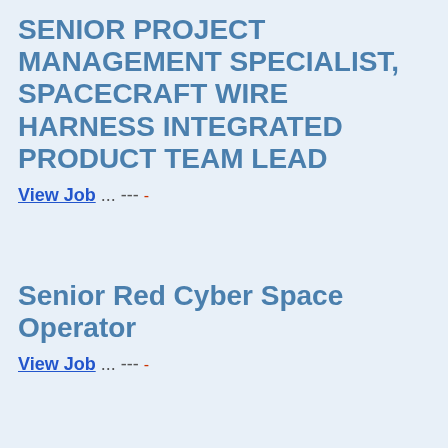SENIOR PROJECT MANAGEMENT SPECIALIST, SPACECRAFT WIRE HARNESS INTEGRATED PRODUCT TEAM LEAD
View Job ... --- -
Senior Red Cyber Space Operator
View Job ... --- -